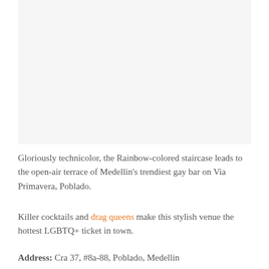[Figure (photo): Photo area — Rainbow-colored staircase at Medellin gay bar on Via Primavera, Poblado (image not rendered)]
Gloriously technicolor, the Rainbow-colored staircase leads to the open-air terrace of Medellin's trendiest gay bar on Via Primavera, Poblado.
Killer cocktails and drag queens make this stylish venue the hottest LGBTQ+ ticket in town.
Address: Cra 37, #8a-88, Poblado, Medellin